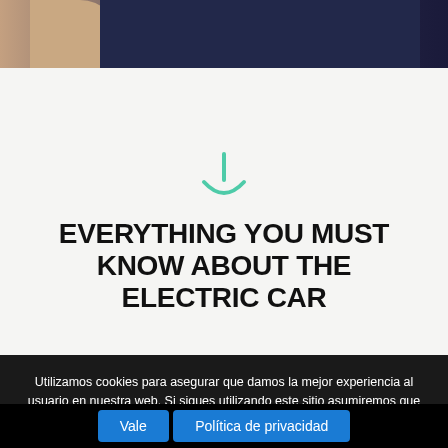[Figure (photo): Cropped photo showing a person in a dark suit against a tan/brown background, only torso and hands visible]
[Figure (other): Teal/green download or scroll-down icon: vertical line with a curved arc below it]
EVERYTHING YOU MUST KNOW ABOUT THE ELECTRIC CAR
Utilizamos cookies para asegurar que damos la mejor experiencia al usuario en nuestra web. Si sigues utilizando este sitio asumiremos que estás de acuerdo.
Vale   Política de privacidad